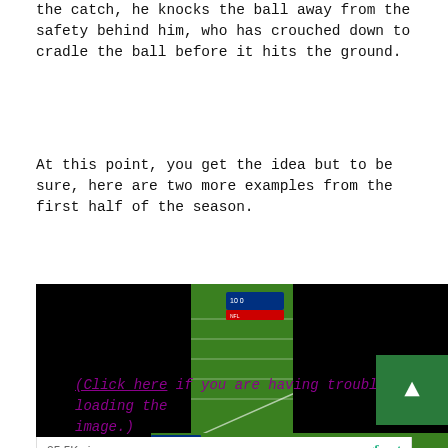the catch, he knocks the ball away from the safety behind him, who has crouched down to cradle the ball before it hits the ground.
At this point, you get the idea but to be sure, here are two more examples from the first half of the season.
[Figure (screenshot): Aerial broadcast view of an American football game on a green field, with a scoreboard overlay in the upper left showing 10-0. Black bars on the left and right sides. A '25.5K views' counter and gfycat logo appear in a bar below the video.]
(Click here if you are having trouble loading the image.)
[Figure (screenshot): Aerial broadcast view of an American football game, scoreboard showing 0-14, FOX NFL logo visible. Black bars on left side.]